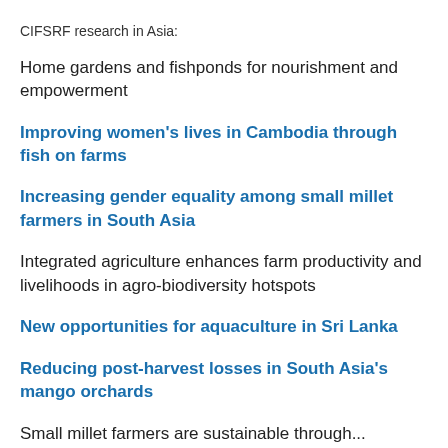CIFSRF research in Asia:
Home gardens and fishponds for nourishment and empowerment
Improving women's lives in Cambodia through fish on farms
Increasing gender equality among small millet farmers in South Asia
Integrated agriculture enhances farm productivity and livelihoods in agro-biodiversity hotspots
New opportunities for aquaculture in Sri Lanka
Reducing post-harvest losses in South Asia's mango orchards
Small millet farmers are sustainable through...